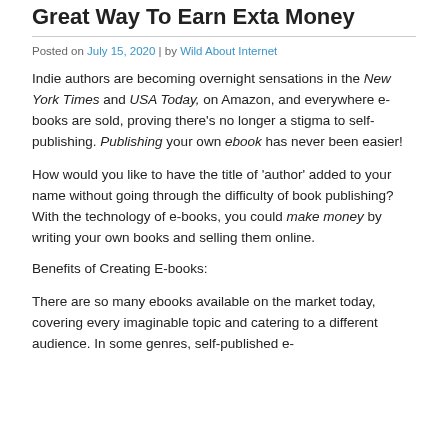Great Way To Earn Exta Money
Posted on July 15, 2020 | by Wild About Internet
Indie authors are becoming overnight sensations in the New York Times and USA Today, on Amazon, and everywhere e-books are sold, proving there’s no longer a stigma to self-publishing. Publishing your own ebook has never been easier!
How would you like to have the title of ‘author’ added to your name without going through the difficulty of book publishing? With the technology of e-books, you could make money by writing your own books and selling them online.
Benefits of Creating E-books:
There are so many ebooks available on the market today, covering every imaginable topic and catering to a different audience. In some genres, self-published e-